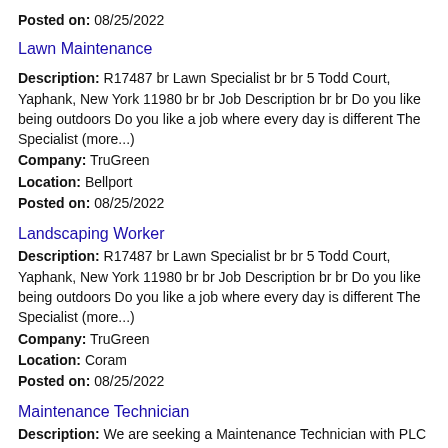Posted on: 08/25/2022
Lawn Maintenance
Description: R17487 br Lawn Specialist br br 5 Todd Court, Yaphank, New York 11980 br br Job Description br br Do you like being outdoors Do you like a job where every day is different The Specialist (more...)
Company: TruGreen
Location: Bellport
Posted on: 08/25/2022
Landscaping Worker
Description: R17487 br Lawn Specialist br br 5 Todd Court, Yaphank, New York 11980 br br Job Description br br Do you like being outdoors Do you like a job where every day is different The Specialist (more...)
Company: TruGreen
Location: Coram
Posted on: 08/25/2022
Maintenance Technician
Description: We are seeking a Maintenance Technician with PLC experience to apply technical skills in order to support various production activities. Demonstrates a strong building